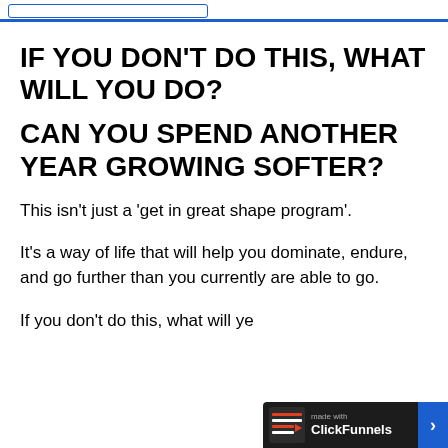IF YOU DON'T DO THIS, WHAT WILL YOU DO?
CAN YOU SPEND ANOTHER YEAR GROWING SOFTER?
This isn't just a 'get in great shape program'.
It's a way of life that will help you dominate, endure, and go further than you currently are able to go.
If you don't do this, what will ye